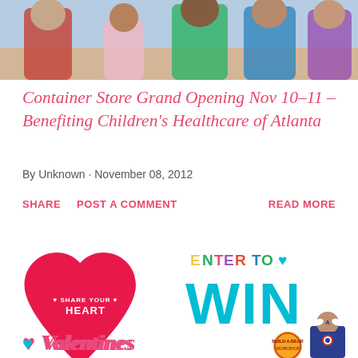[Figure (photo): Photo of children and adults in superhero costumes at an event]
Container Store Grand Opening Nov 10–11 – Benefiting Children's Healthcare of Atlanta
By Unknown · November 08, 2012
SHARE   POST A COMMENT   READ MORE
[Figure (infographic): Promotional image with a red heart 'Share Your Heart', 'Enter to WIN', 'Valentines' text, and Build-A-Bear Workshop logo with Captain America bear]